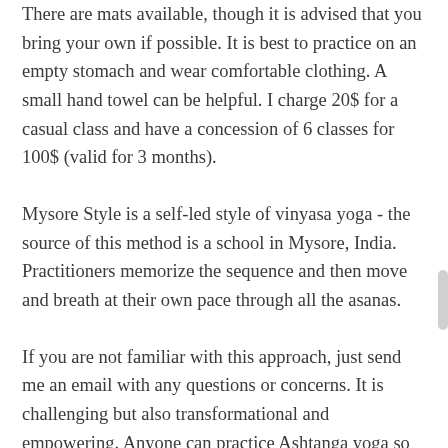There are mats available, though it is advised that you bring your own if possible. It is best to practice on an empty stomach and wear comfortable clothing. A small hand towel can be helpful. I charge 20$ for a casual class and have a concession of 6 classes for 100$ (valid for 3 months).
Mysore Style is a self-led style of vinyasa yoga - the source of this method is a school in Mysore, India. Practitioners memorize the sequence and then move and breath at their own pace through all the asanas.
If you are not familiar with this approach, just send me an email with any questions or concerns. It is challenging but also transformational and empowering. Anyone can practice Ashtanga yoga so long as they are willing. We can find a way together to make this practice accessible for